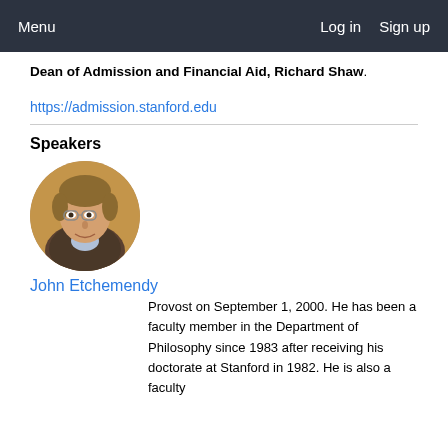Menu    Log in  Sign up
Dean of Admission and Financial Aid, Richard Shaw.
https://admission.stanford.edu
Speakers
[Figure (photo): Circular headshot photo of John Etchemendy, a man with glasses and wavy hair, wearing a suit jacket over a light shirt, with a warm background.]
John Etchemendy
Provost on September 1, 2000. He has been a faculty member in the Department of Philosophy since 1983 after receiving his doctorate at Stanford in 1982. He is also a faculty